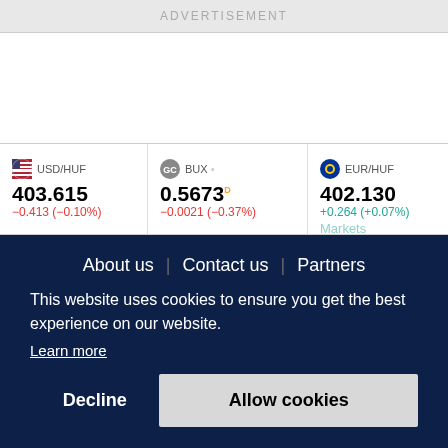ADVERTISEMENT
| Symbol | Price | Change |
| --- | --- | --- |
| USD/HUF | 403.615 | -0.413 (-0.10%) |
| BUX | 0.5673 | -0.0021 (-0.37%) |
| EUR/HUF | 402.130 | +0.264 (+0.07%) |
| 17 | 3.62 | +0.11 |
About us   Contact us   Partners
This website uses cookies to ensure you get the best experience on our website.
Learn more
Decline
Allow cookies